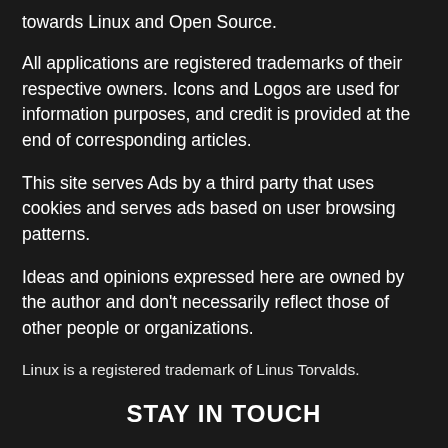towards Linux and Open Source.
All applications are registered trademarks of their respective owners. Icons and Logos are used for information purposes, and credit is provided at the end of corresponding articles.
This site serves Ads by a third party that uses cookies and serves ads based on user browsing patterns.
Ideas and opinions expressed here are owned by the author and don't necessarily reflect those of other people or organizations.
Linux is a registered trademark of Linus Torvalds.
STAY IN TOUCH
RSS    FACEBOOK